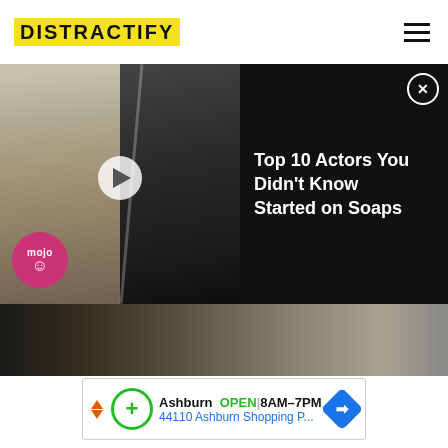DISTRACTIFY
[Figure (photo): Video thumbnail showing two actors side by side with WatchMojo logo, next to title panel on dark background]
Top 10 Actors You Didn't Know Started on Soaps
[Figure (infographic): Advertisement banner: Ashburn OPEN 8AM-7PM, 44110 Ashburn Shopping P...]
ABOUT Distractify
About Us
Privacy Policy
Terms of Use